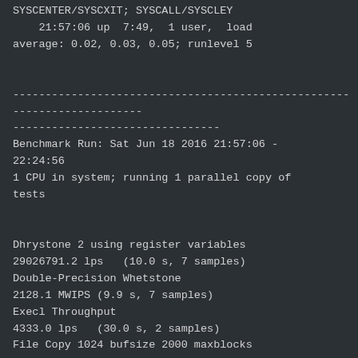SYSCENTER/SYSCXIT; SYSCALL/SYSCLEY
    21:57:06 up  7:49,  1 user,  load average: 0.02, 0.03, 0.05; runlevel 5
------------------------------------------------------------------------
--------------------------------
Benchmark Run: Sat Jun 18 2016 21:57:06 - 22:24:56
1 CPU in system; running 1 parallel copy of tests
Dhrystone 2 using register variables
29026791.2 lps   (10.0 s, 7 samples)
Double-Precision Whetstone
2128.1 MWIPS (9.9 s, 7 samples)
Execl Throughput
4333.0 lps   (30.0 s, 2 samples)
File Copy 1024 bufsize 2000 maxblocks